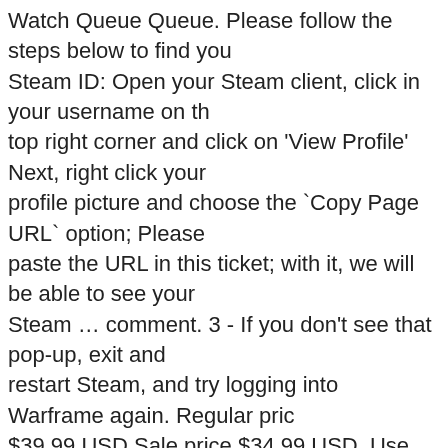Watch Queue Queue. Please follow the steps below to find your Steam ID: Open your Steam client, click in your username on the top right corner and click on 'View Profile' Next, right click your profile picture and choose the `Copy Page URL` option; Please paste the URL in this ticket; with it, we will be able to see your Steam … comment. 3 - If you don't see that pop-up, exit and restart Steam, and try logging into Warframe again. Regular price $39.99 USD Sale price $34.99 USD. Use https://rwarframe.github.io/#flair to set user flair and text. The game is currently in open beta on PC, PlayStation 4, Xbox One and Nintendo Switch. 56682 24-hour peak 154246 all-time peak Compare with others... Month Avg. Azure Fang. Ninjas Play Free. Nov 28, 2019 @ 1:52am I'm having the same problem. Warframe. The wiki is maintained by countless active players and fans from around the world … Warframe est un jeu dans lequel, vous entrez de plein pied dans un univers futuriste et sombre. Cant link warframe to steam Bug I am not getting a pop up when i log in to steam nor am i getting anything on the user info page on the warframe website. General Account Support